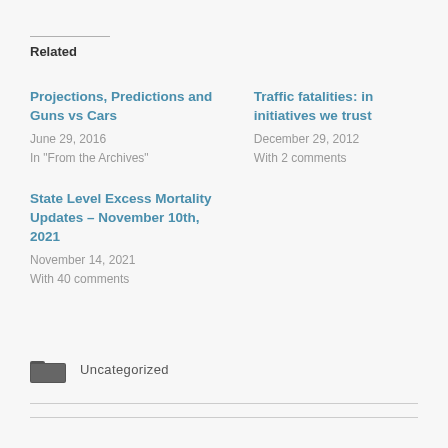Related
Projections, Predictions and Guns vs Cars
June 29, 2016
In "From the Archives"
Traffic fatalities: in initiatives we trust
December 29, 2012
With 2 comments
State Level Excess Mortality Updates – November 10th, 2021
November 14, 2021
With 40 comments
Uncategorized